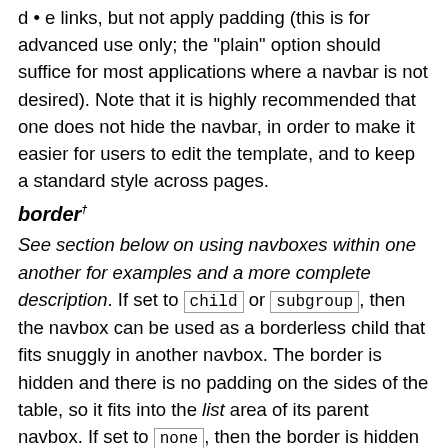d • e links, but not apply padding (this is for advanced use only; the "plain" option should suffice for most applications where a navbar is not desired). Note that it is highly recommended that one does not hide the navbar, in order to make it easier for users to edit the template, and to keep a standard style across pages.
border†
See section below on using navboxes within one another for examples and a more complete description. If set to child or subgroup , then the navbox can be used as a borderless child that fits snuggly in another navbox. The border is hidden and there is no padding on the sides of the table, so it fits into the list area of its parent navbox. If set to none , then the border is hidden and padding is removed, and the navbox may be used as a child of another container (do not use the none option inside of